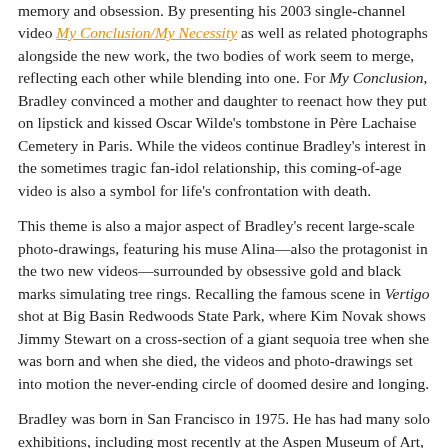memory and obsession. By presenting his 2003 single-channel video My Conclusion/My Necessity as well as related photographs alongside the new work, the two bodies of work seem to merge, reflecting each other while blending into one. For My Conclusion, Bradley convinced a mother and daughter to reenact how they put on lipstick and kissed Oscar Wilde's tombstone in Père Lachaise Cemetery in Paris. While the videos continue Bradley's interest in the sometimes tragic fan-idol relationship, this coming-of-age video is also a symbol for life's confrontation with death.
This theme is also a major aspect of Bradley's recent large-scale photo-drawings, featuring his muse Alina—also the protagonist in the two new videos—surrounded by obsessive gold and black marks simulating tree rings. Recalling the famous scene in Vertigo shot at Big Basin Redwoods State Park, where Kim Novak shows Jimmy Stewart on a cross-section of a giant sequoia tree when she was born and when she died, the videos and photo-drawings set into motion the never-ending circle of doomed desire and longing.
Bradley was born in San Francisco in 1975. He has had many solo exhibitions, including most recently at the Aspen Museum of Art, the Whitney Museum of American Art, and the Guggenheim Museum in New York. His work was included in the 2004 Whitney Biennial. In 2005 he received the Louis Comfort Tiffany Foundation Award in Video. His work is in the permanent collections of